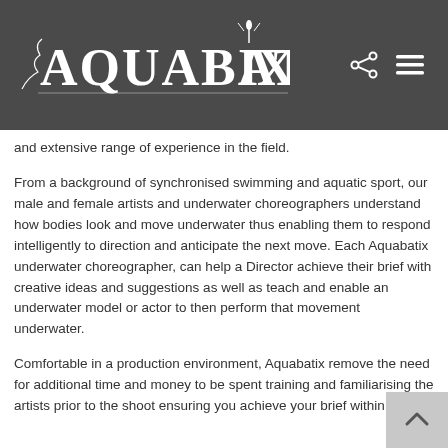[Figure (logo): Aquabatix logo in white text on dark grey header bar with share and menu icons]
and extensive range of experience in the field.
From a background of synchronised swimming and aquatic sport, our male and female artists and underwater choreographers understand how bodies look and move underwater thus enabling them to respond intelligently to direction and anticipate the next move. Each Aquabatix underwater choreographer, can help a Director achieve their brief with creative ideas and suggestions as well as teach and enable an underwater model or actor to then perform that movement underwater.
Comfortable in a production environment, Aquabatix remove the need for additional time and money to be spent training and familiarising the artists prior to the shoot ensuring you achieve your brief within budget.